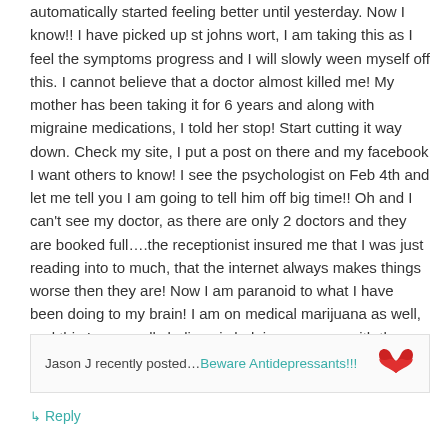automatically started feeling better until yesterday. Now I know!! I have picked up st johns wort, I am taking this as I feel the symptoms progress and I will slowly ween myself off this. I cannot believe that a doctor almost killed me! My mother has been taking it for 6 years and along with migraine medications, I told her stop! Start cutting it way down. Check my site, I put a post on there and my facebook I want others to know! I see the psychologist on Feb 4th and let me tell you I am going to tell him off big time!! Oh and I can't see my doctor, as there are only 2 doctors and they are booked full….the receptionist insured me that I was just reading into to much, that the internet always makes things worse then they are! Now I am paranoid to what I have been doing to my brain! I am on medical marijuana as well, and this I personally believe is helping me cope with the new found disease I got from a person I was suppose to have trust in!!
Jason J recently posted…Beware Antidepressants!!!
↳ Reply